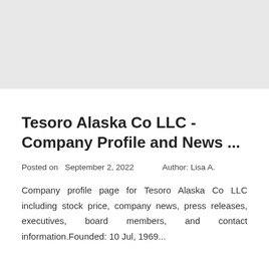[Figure (other): Gray banner/header image area at the top of the page]
Tesoro Alaska Co LLC - Company Profile and News ...
Posted on  September 2, 2022      Author: Lisa A.
Company profile page for Tesoro Alaska Co LLC including stock price, company news, press releases, executives, board members, and contact information.Founded: 10 Jul, 1969...